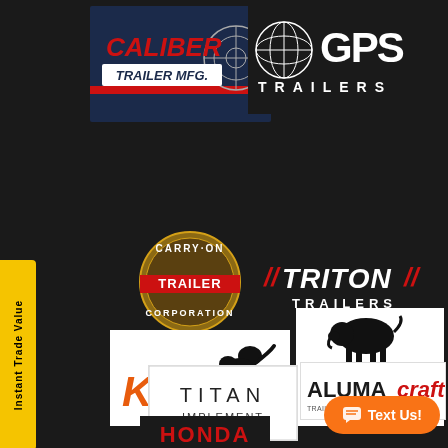[Figure (logo): Caliber Trailer MFG logo — red and white text on dark background with target/crosshair graphic]
[Figure (logo): GPS Trailers logo — globe graphic with GPS TRAILERS text, white on dark background]
[Figure (logo): Carry-On Trailer Corporation logo — circular badge with red trailer bar]
[Figure (logo): Triton Trailers logo — red diagonal slashes flanking TRITON text, white TRAILERS below]
[Figure (logo): Kioti logo — orange KIOTI text with black dog silhouette on white background]
[Figure (logo): Bush Hog logo — black boar illustration, IF IT DOESN'T SAY BUSH HOG IT JUST WON'T CUT IT text on white]
[Figure (logo): Titan Implement logo — white box with TITAN IMPLEMENT text]
[Figure (logo): Alumacraft logo — partial logo visible, white on dark]
[Figure (logo): Honda logo — red HONDA text partial at bottom]
Instant Trade Value
Text Us!